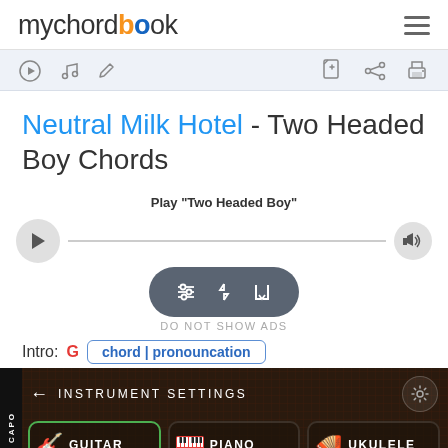mychordbook
Neutral Milk Hotel - Two Headed Boy Chords
Play "Two Headed Boy"
DO NOT SHOW ADS
Intro: G  chord | pronouncation
INSTRUMENT SETTINGS
GUITAR  PIANO  UKULELE
right hand
All floating in glass